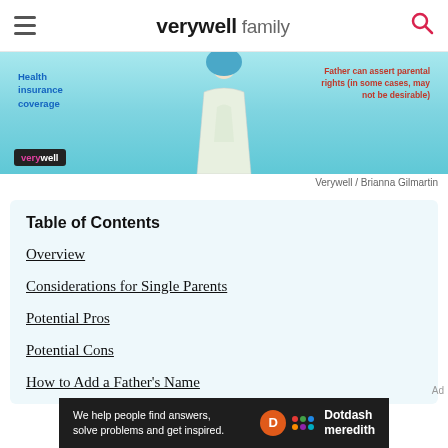verywell family
[Figure (illustration): Banner illustration showing a figure in a gown/dress, with text 'Health insurance coverage' on the left in blue and 'Father can assert parental rights (in some cases, may not be desirable)' on the right in red. Verywell logo badge at bottom left.]
Verywell / Brianna Gilmartin
Table of Contents
Overview
Considerations for Single Parents
Potential Pros
Potential Cons
How to Add a Father's Name
[Figure (other): Dotdash Meredith advertisement banner at bottom: 'We help people find answers, solve problems and get inspired.' with Dotdash Meredith logo.]